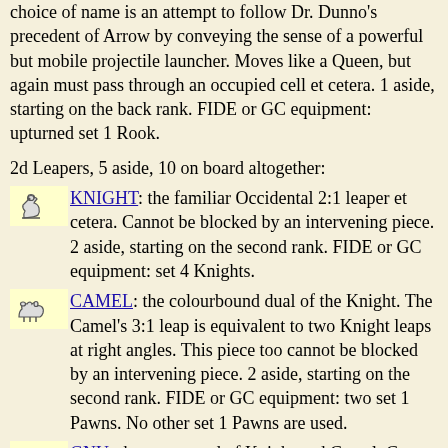choice of name is an attempt to follow Dr. Dunno's precedent of Arrow by conveying the sense of a powerful but mobile projectile launcher. Moves like a Queen, but again must pass through an occupied cell et cetera. 1 aside, starting on the back rank. FIDE or GC equipment: upturned set 1 Rook.
2d Leapers, 5 aside, 10 on board altogether:
KNIGHT: the familiar Occidental 2:1 leaper et cetera. Cannot be blocked by an intervening piece. 2 aside, starting on the second rank. FIDE or GC equipment: set 4 Knights.
CAMEL: the colourbound dual of the Knight. The Camel's 3:1 leap is equivalent to two Knight leaps at right angles. This piece too cannot be blocked by an intervening piece. 2 aside, starting on the second rank. FIDE or GC equipment: two set 1 Pawns. No other set 1 Pawns are used.
GNU: the compound of Knight and Camel. Cannot be blocked. 1 aside, starting aside, starting on the back